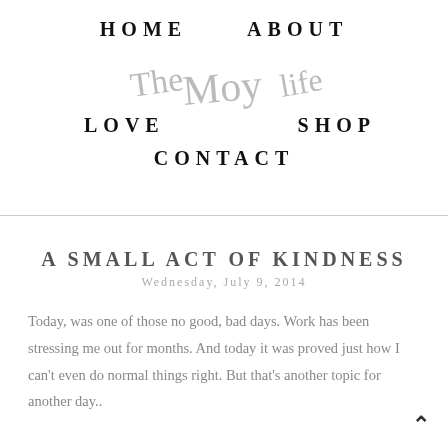HOME   ABOUT   LOVE   [The Moy Life logo]   SHOP   CONTACT
[Figure (logo): Handwritten script logo reading 'The Moy Life' overlaid on navigation links HOME, ABOUT, LOVE, SHOP, CONTACT]
A SMALL ACT OF KINDNESS
Wednesday, July 9, 2014
Today, was one of those no good, bad days. Work has been stressing me out for months. And today it was proved just how I can't even do normal things right. But that's another topic for another day..